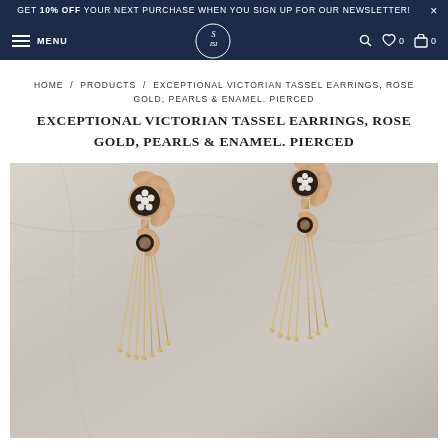GET 10% OFF YOUR NEXT PURCHASE WHEN YOU SIGN UP FOR OUR NEWSLETTER!
MENU [logo] [search] [wishlist 0] [cart 0]
HOME / PRODUCTS / EXCEPTIONAL VICTORIAN TASSEL EARRINGS, ROSE GOLD, PEARLS & ENAMEL. PIERCED
EXCEPTIONAL VICTORIAN TASSEL EARRINGS, ROSE GOLD, PEARLS & ENAMEL. PIERCED
[Figure (photo): Close-up photograph of a pair of Victorian tassel earrings in rose gold with pearls and black enamel, featuring floral stud tops with pearl cluster centers and dangling tassel pendants with chain strands ending in gold ball tips, photographed on a marble surface.]